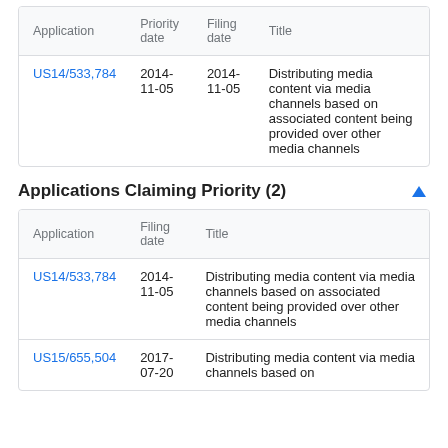| Application | Priority date | Filing date | Title |
| --- | --- | --- | --- |
| US14/533,784 | 2014-11-05 | 2014-11-05 | Distributing media content via media channels based on associated content being provided over other media channels |
Applications Claiming Priority (2)
| Application | Filing date | Title |
| --- | --- | --- |
| US14/533,784 | 2014-11-05 | Distributing media content via media channels based on associated content being provided over other media channels |
| US15/655,504 | 2017-07-20 | Distributing media content via media channels based on |